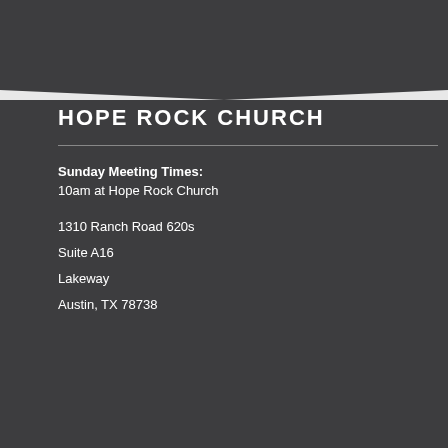[Figure (illustration): Dark gray inverted triangle / chevron shape at the top of the page against a light gray background]
HOPE ROCK CHURCH
Sunday Meeting Times: 10am at Hope Rock Church
1310 Ranch Road 620s
Suite A16
Lakeway
Austin, TX 78738